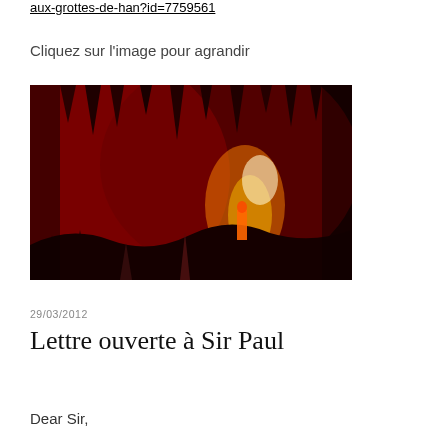aux-grottes-de-han?id=7759561
Cliquez sur l'image pour agrandir
[Figure (photo): Cave interior with red and orange lighting illuminating stalactites and rock formations, with a silhouette of a person visible in the background]
29/03/2012
Lettre ouverte à Sir Paul
Dear Sir,